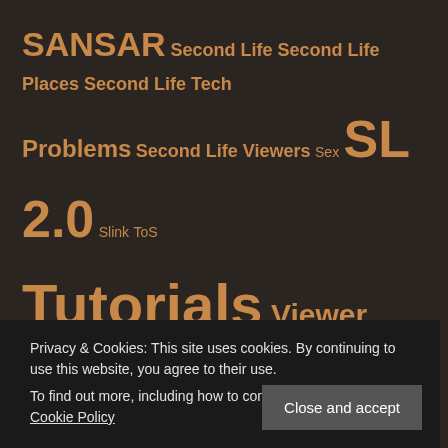SANSAR Second Life Second Life Places Second Life Tech Problems Second Life Viewers Sex SL 2.0 Slink ToS Tutorials Viewer Tutorial Virtual World News VR Windows 10
POPULAR POSTS
SL's Top 10 Favorite Sex Places, according to Jessica
Second Life Tutorial: RLV, Mesh, and Folders – How it works, How to Use
Maitreya v5 Update
Second Life: Breast Deformer … more
Privacy & Cookies: This site uses cookies. By continuing to use this website, you agree to their use. To find out more, including how to control cookies, see here: Cookie Policy
Close and accept
Blender Install 2022 | Nalates' Things & Stuff Nalates' Things & Stuff On